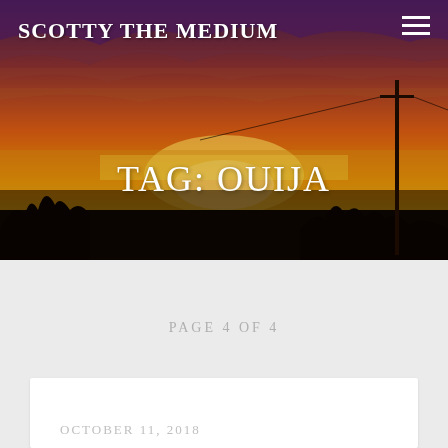SCOTTY THE MEDIUM
[Figure (photo): Dramatic sunset sky with orange, red, and purple clouds over a body of water with silhouetted trees and a utility pole in the foreground]
TAG: OUIJA
PAGE 4 OF 4
OCTOBER 11, 2018